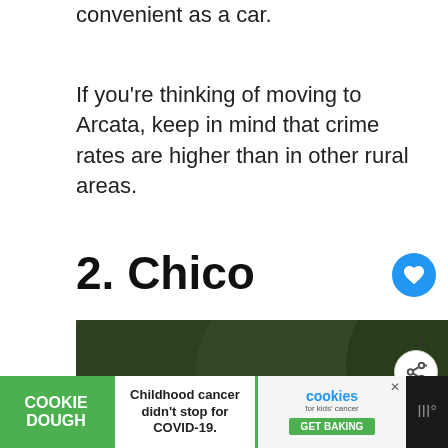convenient as a car.
If you're thinking of moving to Arcata, keep in mind that crime rates are higher than in other rural areas.
2. Chico
[Figure (photo): Photo of California State University, Chico sign — a brick monument with a dark panel showing the CSU logo and 'California State' text, surrounded by green trees and shrubs. Overlaid with a 'WHAT'S NEXT' promotional box showing 'What Are the Characteristi...' and a share/heart button UI.]
[Figure (advertisement): Cookie Dough advertisement bar: green 'COOKIE DOUGH' logo on left, center text 'Childhood cancer didn't stop for COVID-19.', right section showing 'cookies for kids' cancer' logo and 'GET BAKING' button.]